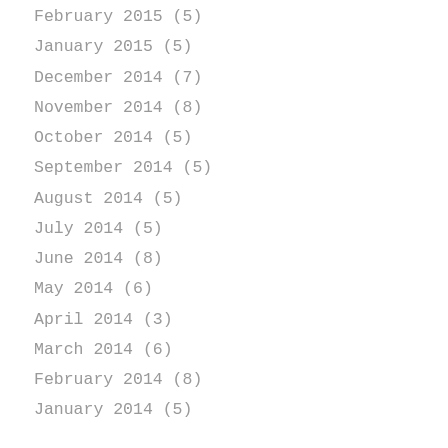February 2015 (5)
January 2015 (5)
December 2014 (7)
November 2014 (8)
October 2014 (5)
September 2014 (5)
August 2014 (5)
July 2014 (5)
June 2014 (8)
May 2014 (6)
April 2014 (3)
March 2014 (6)
February 2014 (8)
January 2014 (5)